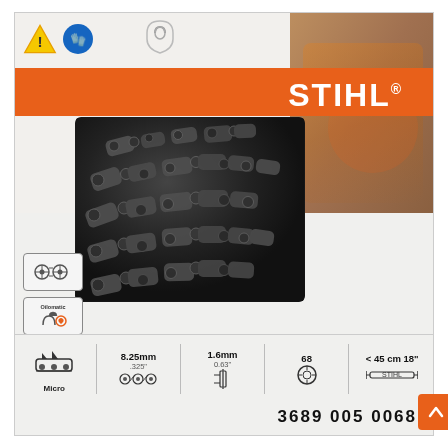[Figure (photo): STIHL chainsaw chain product packaging. Box shows warning icons, STIHL logo on orange banner, image of chainsaw chain links (black metal), left-side icons including lubrication/Oilomatic symbols and yellow color patch. Bottom row shows specs: Micro tooth type, 8.25mm/.325' pitch, 1.6mm/0.63' gauge, 68 drive links, max bar length <45cm 18 inches. Part number 3689 005 0068.]